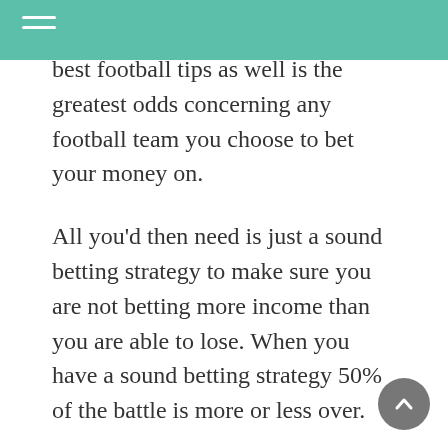best football tips as well is the greatest odds concerning any football team you choose to bet your money on.
All you'd then need is just a sound betting strategy to make sure you are not betting more income than you are able to lose. When you have a sound betting strategy 50% of the battle is more or less over.
A good football tips service will also be able to provide you with sound money management advice which can help you get the absolute most out of their football tips.